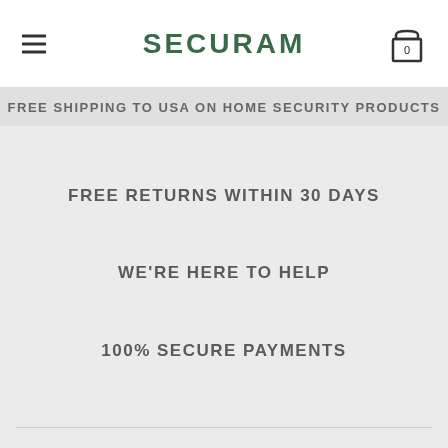SECURAM
FREE SHIPPING TO USA ON HOME SECURITY PRODUCTS
FREE RETURNS WITHIN 30 DAYS
WE'RE HERE TO HELP
100% SECURE PAYMENTS